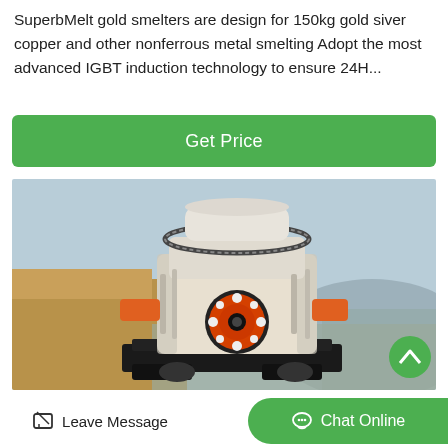SuperbMelt gold smelters are design for 150kg gold siver copper and other nonferrous metal smelting Adopt the most advanced IGBT induction technology to ensure 24H...
Get Price
[Figure (photo): Industrial cone crusher machine (large white and orange mechanical equipment) photographed outdoors at a mining or quarry site with sandy terrain and hills in the background.]
Leave Message
Chat Online